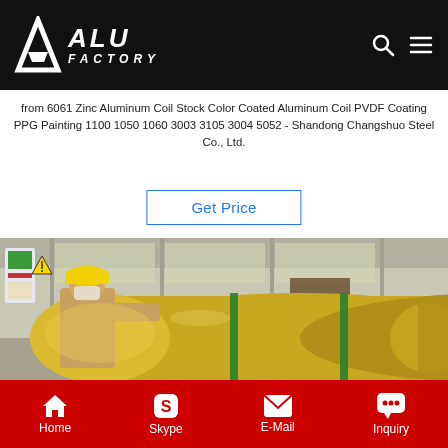ALU FACTORY
from 6061 Zinc Aluminum Coil Stock Color Coated Aluminum Coil PVDF Coating PPG Painting 1100 1050 1060 3003 3105 3004 5052 - Shandong Changshuo Steel Co., Ltd.
Get Price
[Figure (photo): Worker in yellow hard hat and face mask handling a large gold/bronze colored aluminum coil inside an industrial warehouse facility]
Home  Skype  E-Mail  Inquiry